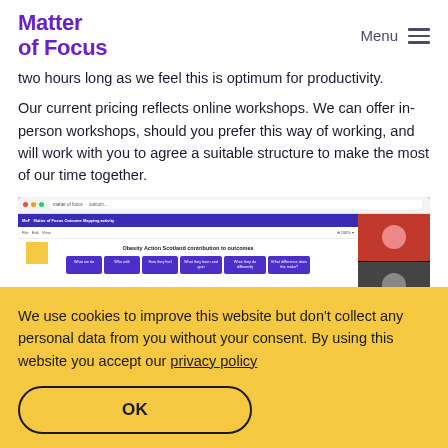Matter of Focus | Menu
two hours long as we feel this is optimum for productivity.
Our current pricing reflects online workshops. We can offer in-person workshops, should you prefer this way of working, and will work with you to agree a suitable structure to make the most of our time together.
[Figure (screenshot): A screenshot of a browser window showing the Matter of Focus outcome mapping tool with a video call sidebar. The tool shows 'Obesity Action Scotland contribution to outcomes' with purple cards arranged in columns.]
We use cookies to improve this website but don't collect any personal data from you without your consent. By using this website you accept our privacy policy
OK